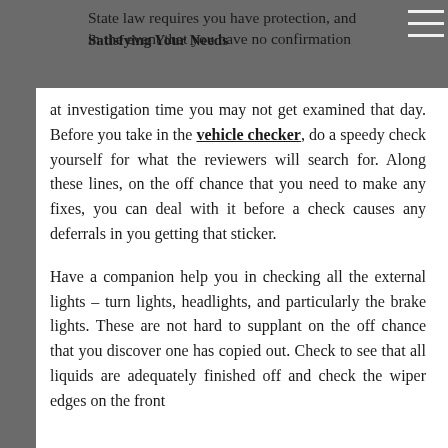State law requires you have protection, and in the event that you have no confirmation
Satisfying Your Needs
at investigation time you may not get examined that day. Before you take in the vehicle checker, do a speedy check yourself for what the reviewers will search for. Along these lines, on the off chance that you need to make any fixes, you can deal with it before a check causes any deferrals in you getting that sticker.
Have a companion help you in checking all the external lights – turn lights, headlights, and particularly the brake lights. These are not hard to supplant on the off chance that you discover one has copied out. Check to see that all liquids are adequately finished off and check the wiper edges on the front